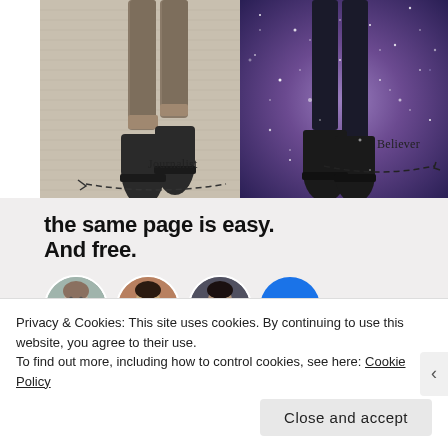[Figure (illustration): Split image showing two people from the waist down. Left side: person labeled 'Journalist' wearing jeans and black ankle boots against a white striped wallpaper background with a dashed arc beneath. Right side: person labeled 'Believer' wearing dark pants and black shoes against a purple starry galaxy background with a dashed arc beneath.]
the same page is easy.
And free.
[Figure (illustration): Row of four circular avatars: three portrait photos of people and one blue circle with a white plus sign.]
Privacy & Cookies: This site uses cookies. By continuing to use this website, you agree to their use.
To find out more, including how to control cookies, see here: Cookie Policy
Close and accept